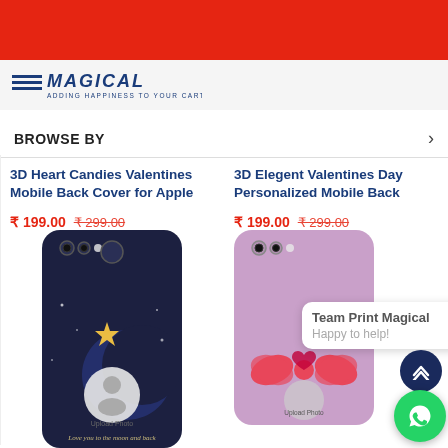[Figure (screenshot): Red top navigation banner of an e-commerce website]
[Figure (logo): Website logo with blue italic text and tagline 'ADDING HAPPINESS TO YOUR CART']
BROWSE BY
3D Heart Candies Valentines Mobile Back Cover for Apple
₹ 199.00  ₹ 299.00
3D Elegent Valentines Day Personalized Mobile Back
₹ 199.00  ₹ 299.00
[Figure (photo): Dark navy phone case with 'HAPPY ANNIVERSARY!' text, moon and star design, and Upload Photo circle placeholder]
[Figure (photo): Pink phone case with bow/ribbon design and Upload Photo placeholder, with Team Print Magical chat bubble overlay]